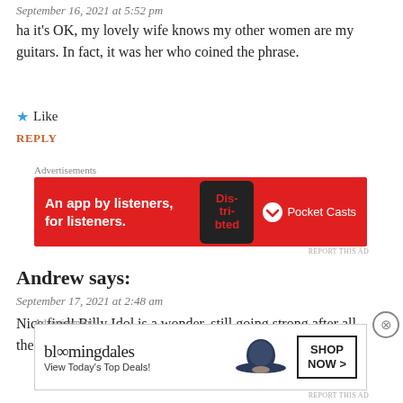September 16, 2021 at 5:52 pm
ha it’s OK, my lovely wife knows my other women are my guitars. In fact, it was her who coined the phrase.
★ Like
REPLY
[Figure (other): Pocket Casts advertisement banner: red background, text 'An app by listeners, for listeners.' with phone graphic and Pocket Casts logo]
Andrew says:
September 17, 2021 at 2:48 am
Nice find! Billy Idol is a wonder, still going strong after all these years. He could still school many bands with his live
[Figure (other): Bloomingdales advertisement: 'bloomingdales View Today’s Top Deals!' with woman in hat and 'SHOP NOW >' button]